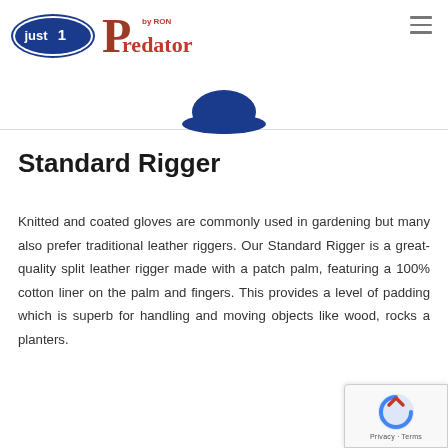just1 | Predator by RON
[Figure (logo): Just1 oval logo with blue background and white text 'just 1', alongside Predator by RON logo with large red/brown P and text 'by RON predator']
Standard Rigger
Knitted and coated gloves are commonly used in gardening but many also prefer traditional leather riggers. Our Standard Rigger is a great-quality split leather rigger made with a patch palm, featuring a 100% cotton liner on the palm and fingers. This provides a level of padding which is superb for handling and moving objects like wood, rocks a planters.